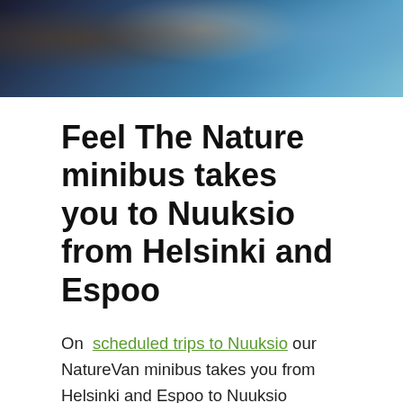[Figure (photo): Partial photo strip at top of page showing people, appears to be a group outdoors or in a vehicle, dark and blue tones]
Feel The Nature minibus takes you to Nuuksio from Helsinki and Espoo
On scheduled trips to Nuuksio our NatureVan minibus takes you from Helsinki and Espoo to Nuuksio National Park. You can step on the bus from following places Helsinki City Centre/Kiasma, Espoo/Keilaniemi, Espoo/Niittykumpu, and Espoo/Ikea. If you need more information about special arrangements, do not hesitate to ask. On private tours, we can pick up your group (1-8 persons) from any location (e.g., hotel or cruise ship) in the Helsinki Region. We can pick you up also from...